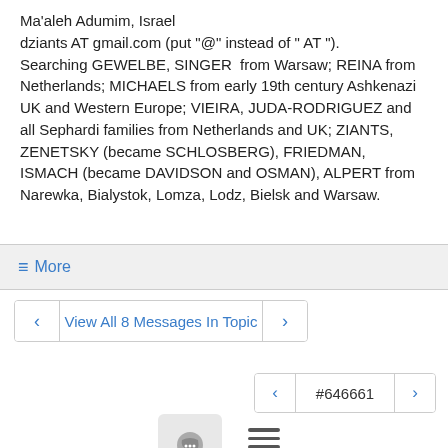Ma'aleh Adumim, Israel
dziants AT gmail.com (put "@" instead of " AT ").
Searching GEWELBE, SINGER from Warsaw; REINA from Netherlands; MICHAELS from early 19th century Ashkenazi UK and Western Europe; VIEIRA, JUDA-RODRIGUEZ and all Sephardi families from Netherlands and UK; ZIANTS, ZENETSKY (became SCHLOSBERG), FRIEDMAN, ISMACH (became DAVIDSON and OSMAN), ALPERT from Narewka, Bialystok, Lomza, Lodz, Bielsk and Warsaw.
≡ More
< View All 8 Messages In Topic >
< #646661 >